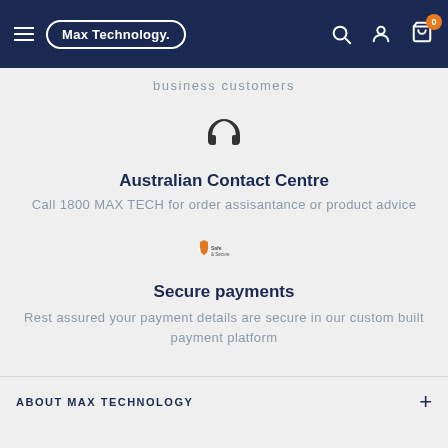Max Technology.
business customers
[Figure (illustration): Headset / customer support icon]
Australian Contact Centre
Call 1800 MAX TECH for order assisantance or product advice
[Figure (logo): Safe and secure payments badge/logo]
Secure payments
Rest assured your payment details are secure in our custom built payment platform
ABOUT MAX TECHNOLOGY